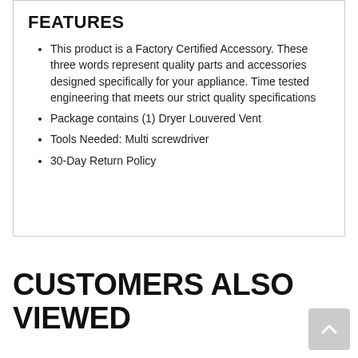FEATURES
This product is a Factory Certified Accessory. These three words represent quality parts and accessories designed specifically for your appliance. Time tested engineering that meets our strict quality specifications
Package contains (1) Dryer Louvered Vent
Tools Needed: Multi screwdriver
30-Day Return Policy
CUSTOMERS ALSO VIEWED